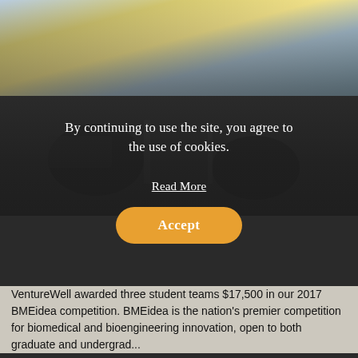[Figure (photo): Blurred laboratory/science photo showing equipment and a golden light flare, with a dark overlay applied for cookie consent banner.]
By continuing to use the site, you agree to the use of cookies.
Read More
Accept
VentureWell awarded three student teams $17,500 in our 2017 BMEidea competition. BMEidea is the nation's premier competition for biomedical and bioengineering innovation, open to both graduate and undergraduate...